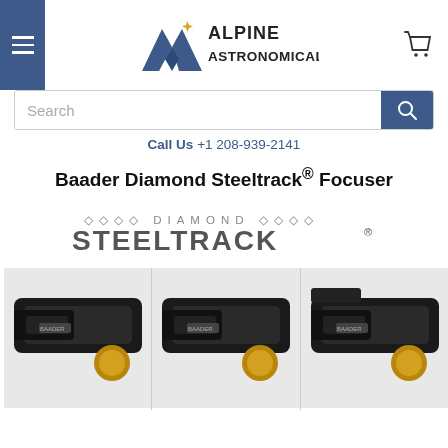[Figure (logo): Alpine Astronomical logo with mountain/arrow icon and text]
[Figure (screenshot): Search bar with blue search button]
Call Us +1 208-939-2141
Baader Diamond Steeltrack® Focuser
[Figure (photo): Diamond Steeltrack brand logo and three focuser product photos showing black focusers with gold knobs]